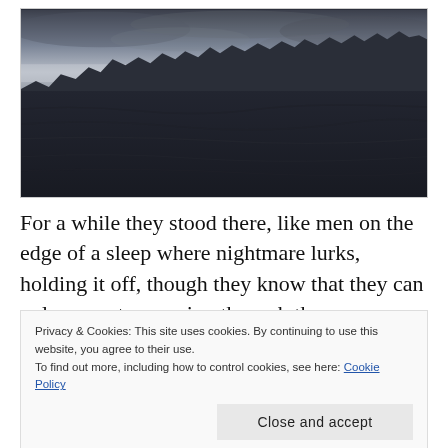[Figure (photo): Dark panoramic landscape photo showing a vast shadowy plain with a jagged mountain range silhouetted against a moody grey sky with clouds.]
For a while they stood there, like men on the edge of a sleep where nightmare lurks, holding it off, though they know that they can only come to morning through the
Privacy & Cookies: This site uses cookies. By continuing to use this website, you agree to their use.
To find out more, including how to control cookies, see here: Cookie Policy
Close and accept
hobbits had no welcome for that light; unfriendly it